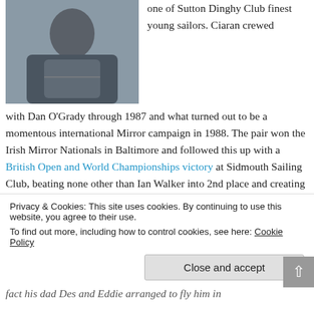[Figure (photo): Portrait photo of a person wearing a dark sweater, holding a grey bag or sail, against a light background]
one of Sutton Dinghy Club finest young sailors. Ciaran crewed with Dan O'Grady through 1987 and what turned out to be a momentous international Mirror campaign in 1988. The pair won the Irish Mirror Nationals in Baltimore and followed this up with a British Open and World Championships victory at Sidmouth Sailing Club, beating none other than Ian Walker into 2nd place and creating one of the biggest shocks to British Mirror sailing at the time.
Privacy & Cookies: This site uses cookies. By continuing to use this website, you agree to their use.
To find out more, including how to control cookies, see here: Cookie Policy
Close and accept
fact his dad Des and Eddie arranged to fly him in